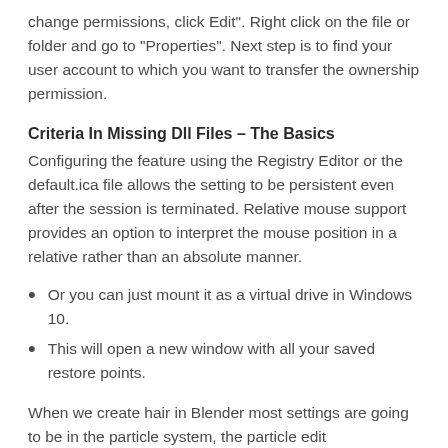change permissions, click Edit". Right click on the file or folder and go to "Properties". Next step is to find your user account to which you want to transfer the ownership permission.
Criteria In Missing Dll Files – The Basics
Configuring the feature using the Registry Editor or the default.ica file allows the setting to be persistent even after the session is terminated. Relative mouse support provides an option to interpret the mouse position in a relative rather than an absolute manner.
Or you can just mount it as a virtual drive in Windows 10.
This will open a new window with all your saved restore points.
When we create hair in Blender most settings are going to be in the particle system, the particle edit